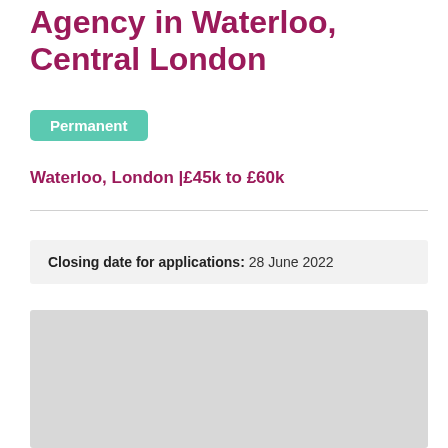Agency in Waterloo, Central London
Permanent
Waterloo, London |£45k to £60k
Closing date for applications: 28 June 2022
[Figure (other): Grey placeholder image box]